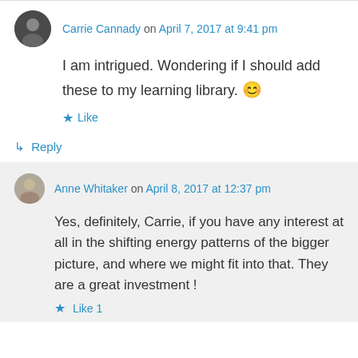Carrie Cannady on April 7, 2017 at 9:41 pm
I am intrigued. Wondering if I should add these to my learning library. 😊
Like
Reply
Anne Whitaker on April 8, 2017 at 12:37 pm
Yes, definitely, Carrie, if you have any interest at all in the shifting energy patterns of the bigger picture, and where we might fit into that. They are a great investment !